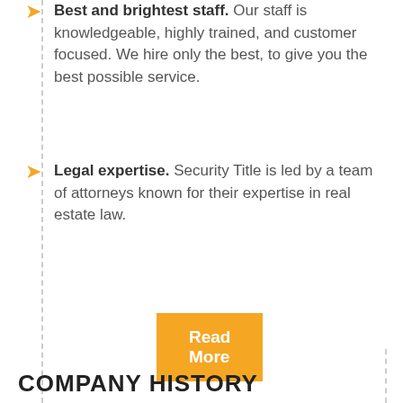Best and brightest staff. Our staff is knowledgeable, highly trained, and customer focused. We hire only the best, to give you the best possible service.
Legal expertise. Security Title is led by a team of attorneys known for their expertise in real estate law.
Read More
COMPANY HISTORY